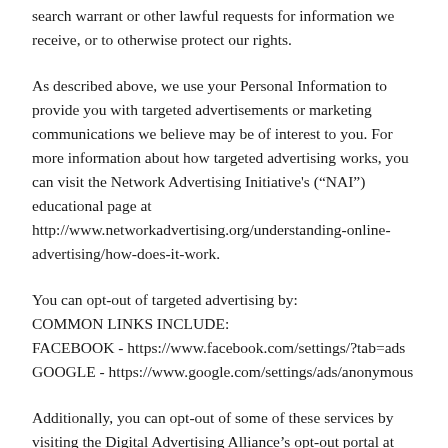search warrant or other lawful requests for information we receive, or to otherwise protect our rights.
As described above, we use your Personal Information to provide you with targeted advertisements or marketing communications we believe may be of interest to you. For more information about how targeted advertising works, you can visit the Network Advertising Initiative's (“NAI”) educational page at http://www.networkadvertising.org/understanding-online-advertising/how-does-it-work.
You can opt-out of targeted advertising by:
COMMON LINKS INCLUDE:
FACEBOOK - https://www.facebook.com/settings/?tab=ads
GOOGLE - https://www.google.com/settings/ads/anonymous
Additionally, you can opt-out of some of these services by visiting the Digital Advertising Alliance’s opt-out portal at